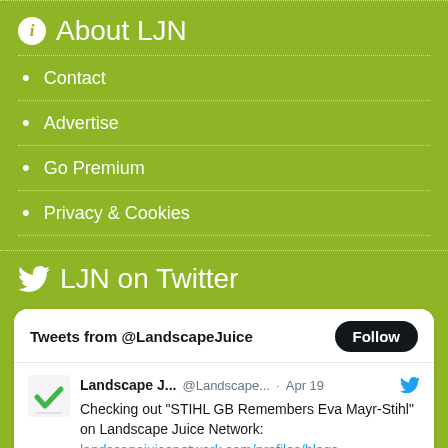About LJN
Contact
Advertise
Go Premium
Privacy & Cookies
LJN on Twitter
[Figure (screenshot): Embedded Twitter widget showing tweets from @LandscapeJuice with a Follow button. Contains a tweet from Landscape J... @Landscape... · Apr 19 reading: Checking out "STIHL GB Remembers Eva Mayr-Stihl" on Landscape Juice Network: landscapejuicenetwork.com/profiles/blogs...]